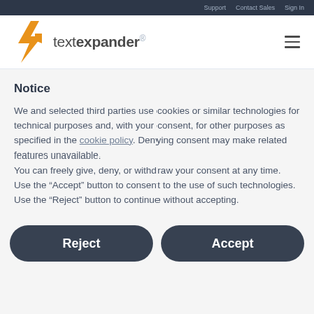Support   Contact Sales   Sign In
[Figure (logo): TextExpander logo with orange lightning bolt icon and text 'textexpander']
Notice
We and selected third parties use cookies or similar technologies for technical purposes and, with your consent, for other purposes as specified in the cookie policy. Denying consent may make related features unavailable.
You can freely give, deny, or withdraw your consent at any time.
Use the “Accept” button to consent to the use of such technologies. Use the “Reject” button to continue without accepting.